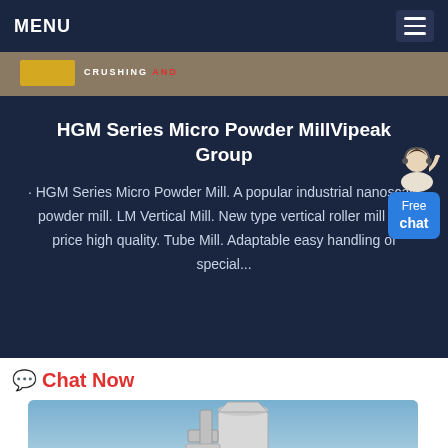MENU
[Figure (screenshot): Top banner image strip showing partial industrial machinery with text CRUSHING AND]
HGM Series Micro Powder MillVipeak Group
· HGM Series Micro Powder Mill. A popular industrial nanoscale powder mill. LM Vertical Mill. New type vertical roller mill low price high quality. Tube Mill. Adaptable easy handling of special...
[Figure (illustration): Free chat widget with avatar figure and blue button labeled Free chat]
Chat Now
[Figure (photo): Industrial powder mill equipment photographed against blue sky background with scroll-up button]